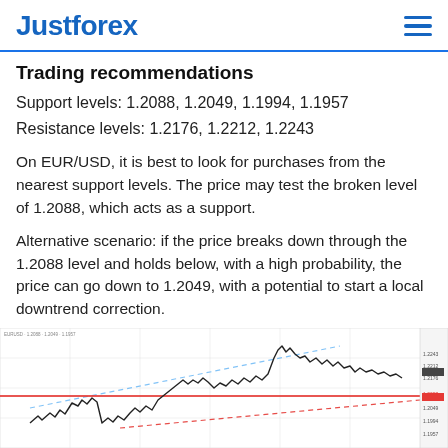Justforex
Trading recommendations
Support levels: 1.2088, 1.2049, 1.1994, 1.1957
Resistance levels: 1.2176, 1.2212, 1.2243
On EUR/USD, it is best to look for purchases from the nearest support levels. The price may test the broken level of 1.2088, which acts as a support.
Alternative scenario: if the price breaks down through the 1.2088 level and holds below, with a high probability, the price can go down to 1.2049, with a potential to start a local downtrend correction.
[Figure (continuous-plot): EUR/USD candlestick/line chart showing price movement with a red horizontal support line around 1.2088, blue dashed trendlines forming a channel, and price action moving upward then pulling back. A legend/panel is visible on the right side.]